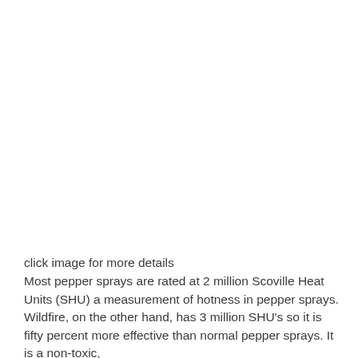[Figure (photo): Large blank/white image area at the top of the page, placeholder for a product photo (pepper spray). Captioned below with 'click image for more details'.]
click image for more details
Most pepper sprays are rated at 2 million Scoville Heat Units (SHU) a measurement of hotness in pepper sprays. Wildfire, on the other hand, has 3 million SHU's so it is fifty percent more effective than normal pepper sprays. It is a non-toxic,